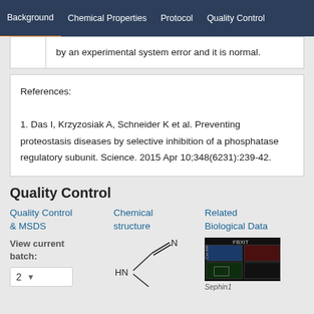Background | Chemical Properties | Protocol | Quality Control
by an experimental system error and it is normal.
References:

1. Das I, Krzyzosiak A, Schneider K et al. Preventing proteostasis diseases by selective inhibition of a phosphatase regulatory subunit. Science. 2015 Apr 10;348(6231):239-42.
Quality Control
Quality Control & MSDS
View current batch:
Chemical structure
Related Biological Data
[Figure (other): Chemical structure diagram showing HN group with double bond to C and N]
[Figure (photo): Fluorescence microscopy images labeled FBXIT, showing cell staining in blue, red, and green channels]
Sephin1